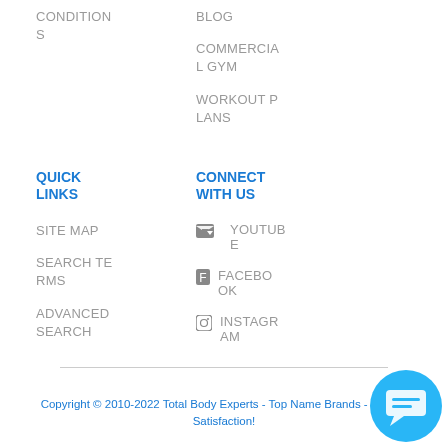CONDITIONS
BLOG
COMMERCIAL GYM
WORKOUT PLANS
QUICK LINKS
CONNECT WITH US
SITE MAP
SEARCH TERMS
ADVANCED SEARCH
YOUTUBE
FACEBOOK
INSTAGRAM
Copyright © 2010-2022 Total Body Experts - Top Name Brands - #1 in Customer Satisfaction!